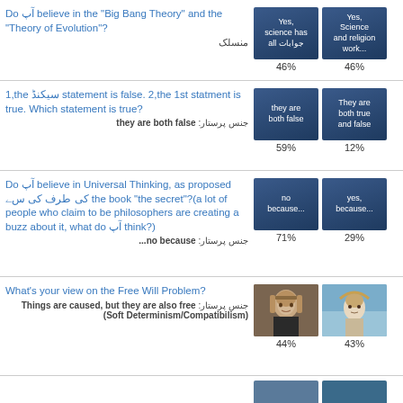Do آپ believe in the "Big Bang Theory" and the "Theory of Evolution"? منسلک
[Figure (infographic): Two answer cards: 'Yes, science has all جوابات' (46%) and 'Yes, Science and religion work...' (46%)]
1,the سیکنڈ statement is false. 2,the 1st statment is true. Which statement is true? جنس پرستار: they are both false
[Figure (infographic): Two answer cards: 'they are both false' (59%) and 'They are both true and false' (12%)]
Do آپ believe in Universal Thinking, as proposed کی طرف کی سﮯ the book "the secret"?(a lot of people who claim to be philosophers are creating a buzz about it, what do آپ think?) جنس پرستار: no because...
[Figure (infographic): Two answer cards: 'no because...' (71%) and 'yes, because...' (29%)]
What's your view on the Free Will Problem? جنس پرستار: Things are caused, but they are also free (Soft Determinism/Compatibilism)
[Figure (photo): Two photo cards showing portraits (Hobbes and Athena-like figure). 44% and 43%]
[Figure (photo): Partial row 5 with two photo cards visible at bottom]